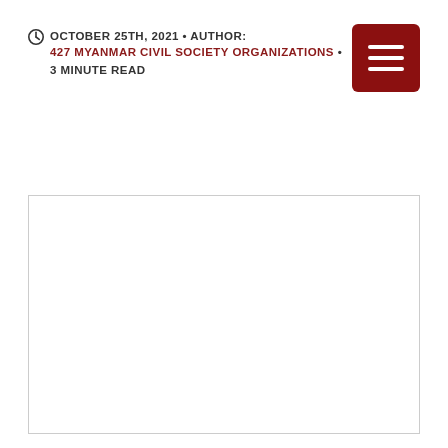OCTOBER 25TH, 2021 • AUTHOR: 427 MYANMAR CIVIL SOCIETY ORGANIZATIONS • 3 MINUTE READ
[Figure (other): A large white rectangular content area with a thin gray border, mostly blank/empty]